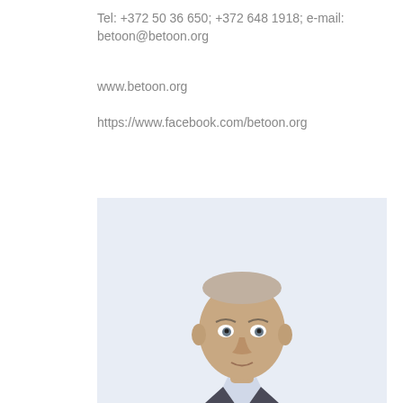Tel: +372 50 36 650; +372 648 1918; e-mail: betoon@betoon.org
www.betoon.org
https://www.facebook.com/betoon.org
[Figure (photo): Portrait photo of a middle-aged bald man in a suit, professional headshot against a light background]